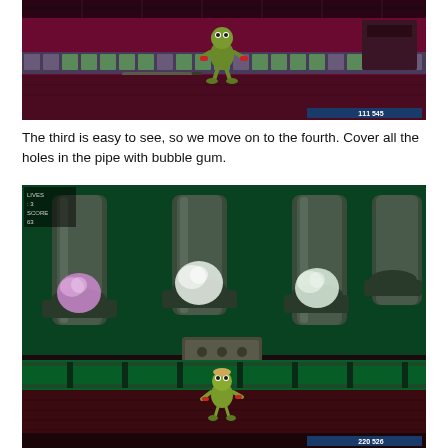[Figure (screenshot): Video game screenshot showing a cartoon frog character standing in a pink/magenta sci-fi corridor with glowing grid floor panels and electronic equipment. Score display shows 111 545 in bottom right corner.]
The third is easy to see, so we move on to the fourth. Cover all the holes in the pipe with bubble gum.
[Figure (screenshot): Video game screenshot showing a cartoon character in a green-lit industrial/pipe room with large mechanical pipes capped with bubble gum (white/pink blobs). Character stands on a lower platform. Score display shows 220 526 in bottom right corner.]